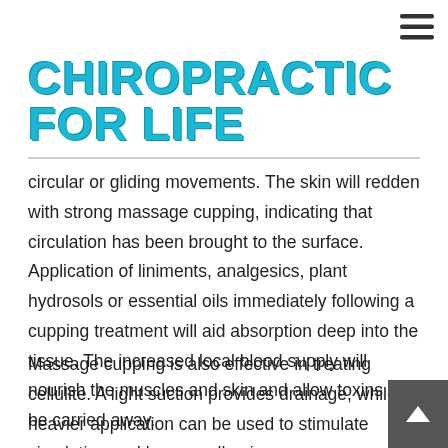[Figure (logo): Hamburger menu icon (three horizontal lines) in top right corner]
CHIROPRACTIC FOR LIFE
circular or gliding movements. The skin will redden with strong massage cupping, indicating that circulation has been brought to the surface. Application of liniments, analgesics, plant hydrosols or essential oils immediately following a cupping treatment will aid absorption deep into the tissue. The increased local blood supply will nourish the muscles and skin and allow toxins to be carried away.
Massage cupping is also effective in treating cellulite. A light suction provides drainage, while heavier application can be used to stimulate circulation and loosen adhesions or